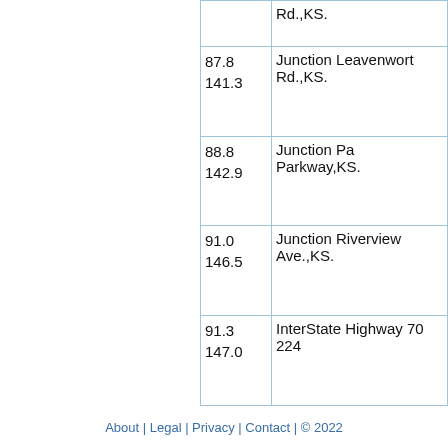| Miles | Description |
| --- | --- |
| (prev)
(prev) | Rd.,KS. |
| 87.8
141.3 | Junction Leavenworth Rd.,KS. |
| 88.8
142.9 | Junction Pa Parkway,KS. |
| 91.0
146.5 | Junction Riverview Ave.,KS. |
| 91.3
147.0 | InterState Highway 70
224 |
About | Legal | Privacy | Contact | © 2022